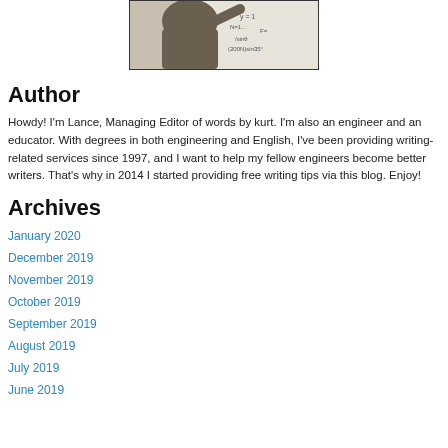[Figure (photo): Person writing on a whiteboard/chalkboard with engineering equations visible]
Author
Howdy!  I'm Lance, Managing Editor of words by kurt.  I'm also an engineer and an educator.  With degrees in both engineering and English, I've been providing writing-related services since 1997, and I want to help my fellow engineers become better writers.  That's why in 2014 I started providing free writing tips via this blog.  Enjoy!
Archives
January 2020
December 2019
November 2019
October 2019
September 2019
August 2019
July 2019
June 2019